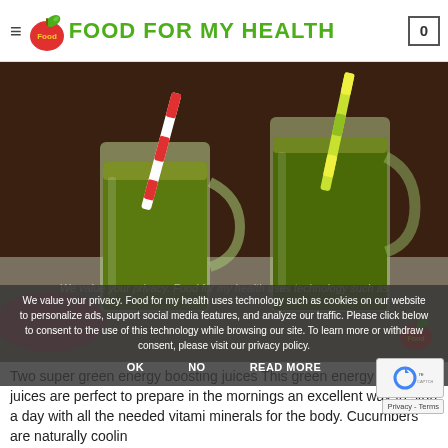FOOD FOR MY HEALTH
[Figure (photo): Two glass mugs filled with dark green juice/smoothie, each with a striped straw (one red/white, one yellow/green), on a dark wooden surface]
We value your privacy. Food for my health uses technology such as cookies on our website to personalize ads, support social media features, and analyze our traffic. Please click below to consent to the use of this technology while browsing our site. To learn more or withdraw consent, please visit our privacy policy.
Two super green energy boosting juices This green energy boosting juices are perfect to prepare in the mornings an excellent way to start a day with all the needed vitami minerals for the body. Cucumbers are naturally coolin